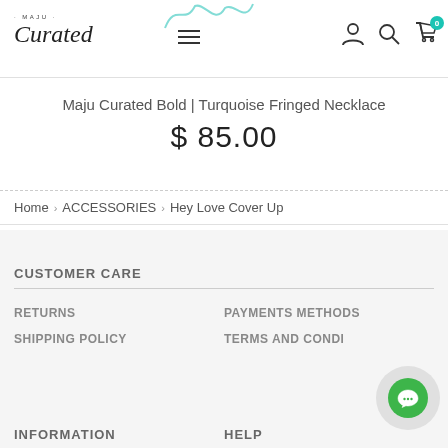Maju Curated header with logo, hamburger menu, account, search, and cart icons
Maju Curated Bold | Turquoise Fringed Necklace
$ 85.00
Home > ACCESSORIES > Hey Love Cover Up
CUSTOMER CARE
RETURNS
PAYMENTS METHODS
SHIPPING POLICY
TERMS AND CONDI...
INFORMATION
HELP